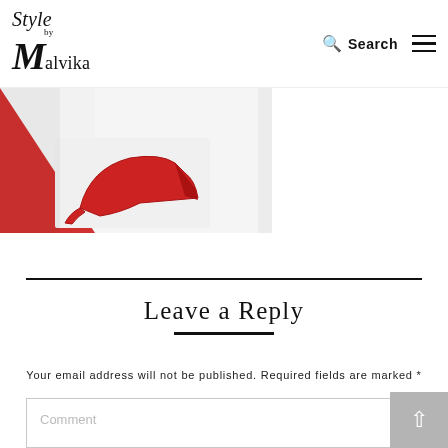Style by Malvika — Search — Menu
[Figure (photo): Partial image of red high heel shoes on a light background with a red triangular design element on the left side]
Leave a Reply
Your email address will not be published. Required fields are marked *